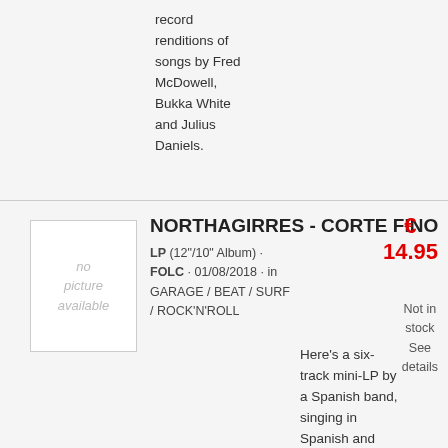record renditions of songs by Fred McDowell, Bukka White and Julius Daniels.
[Figure (other): No picture available placeholder image]
NORTHAGIRRES - CORTE FINO
LP (12"/10" Album) · FOLC · 01/08/2018 · in GARAGE / BEAT / SURF / ROCK'N'ROLL
€ 14.95
Not in stock See details
Here's a six-track mini-LP by a Spanish band, singing in Spanish and showcasing influences of American styles